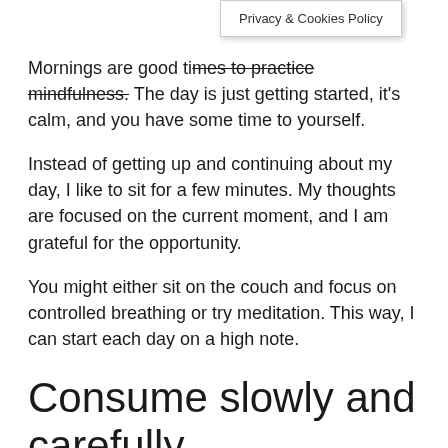Mornings are good times to practice mindfulness. The day is just getting started, it's calm, and you have some time to yourself.
Instead of getting up and continuing about my day, I like to sit for a few minutes. My thoughts are focused on the current moment, and I am grateful for the opportunity.
You might either sit on the couch and focus on controlled breathing or try meditation. This way, I can start each day on a high note.
Consume slowly and carefully.
When was the last time you appreciated a meal from